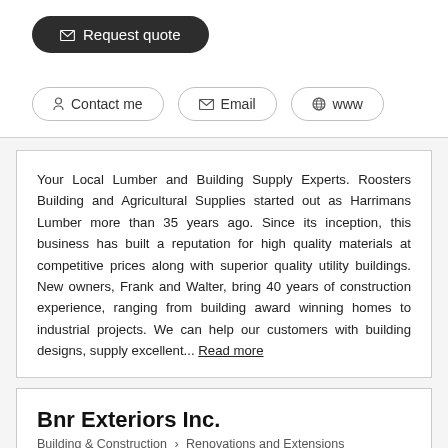✉ Request quote
Contact me  |  Email  |  www
Your Local Lumber and Building Supply Experts. Roosters Building and Agricultural Supplies started out as Harrimans Lumber more than 35 years ago. Since its inception, this business has built a reputation for high quality materials at competitive prices along with superior quality utility buildings. New owners, Frank and Walter, bring 40 years of construction experience, ranging from building award winning homes to industrial projects. We can help our customers with building designs, supply excellent... Read more
Bnr Exteriors Inc.
Building & Construction > Renovations and Extensions